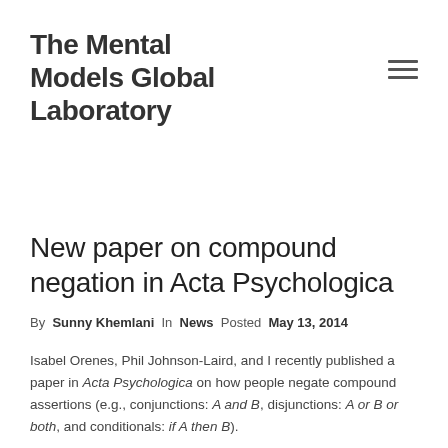The Mental Models Global Laboratory
New paper on compound negation in Acta Psychologica
By Sunny Khemlani In News Posted May 13, 2014
Isabel Orenes, Phil Johnson-Laird, and I recently published a paper in Acta Psychologica on how people negate compound assertions (e.g., conjunctions: A and B, disjunctions: A or B or both, and conditionals: if A then B).
Here’s the abstract: